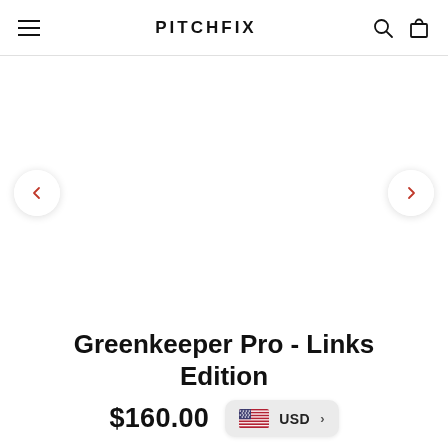PITCHFIX
[Figure (illustration): E-commerce product page with navigation header showing hamburger menu, PITCHFIX brand logo, search and cart icons, a product image carousel area with left and right arrow navigation buttons]
Greenkeeper Pro - Links Edition
$160.00
USD